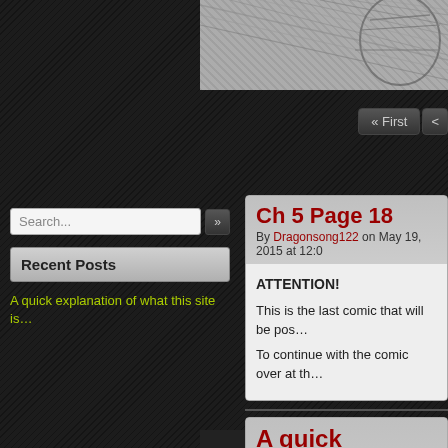[Figure (illustration): Comic page artwork, black and white sketch, partially visible in top right]
« First
Search...
Recent Posts
A quick explanation of what this site is…
Ch 5 Page 18
By Dragonsong122 on May 19, 2015 at 12:0
ATTENTION!
This is the last comic that will be pos…
To continue with the comic over at th…
A quick explanation of
By Dragonsong122 on June 15, 2015 at 8:1
Posted In: Uncategorized
Welcome!
This site is an archive of the first five were originally published online back updated these pages with new high-n main site.